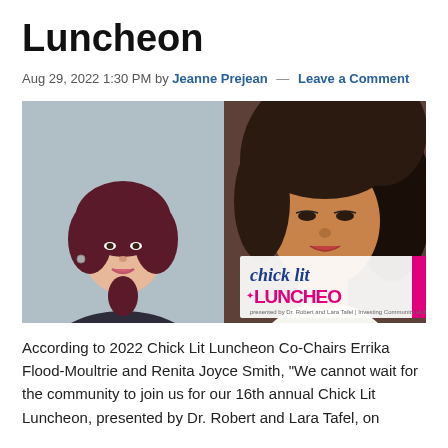Luncheon
Aug 29, 2022 1:30 PM by Jeanne Prejean — Leave a Comment
[Figure (photo): Two women side by side: a woman with dark red hair smiling on the left, and a glamorous woman with flowing dark hair on the right, with a 'chick lit LUNCHEON presented by Dr. Robert and Lara Tafel | Investing Community Hub' logo overlay in the lower right corner.]
According to 2022 Chick Lit Luncheon Co-Chairs Errika Flood-Moultrie and Renita Joyce Smith, "We cannot wait for the community to join us for our 16th annual Chick Lit Luncheon, presented by Dr. Robert and Lara Tafel, on